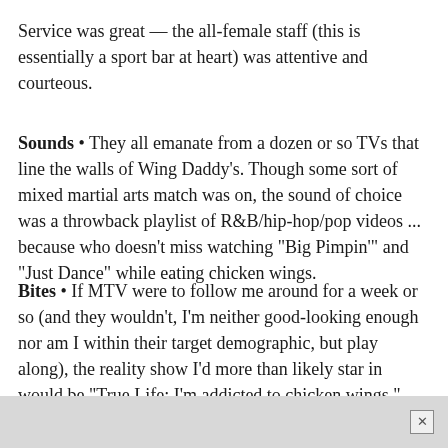Service was great — the all-female staff (this is essentially a sport bar at heart) was attentive and courteous.
Sounds • They all emanate from a dozen or so TVs that line the walls of Wing Daddy's. Though some sort of mixed martial arts match was on, the sound of choice was a throwback playlist of R&B/hip-hop/pop videos ... because who doesn't miss watching "Big Pimpin'" and "Just Dance" while eating chicken wings.
Bites • If MTV were to follow me around for a week or so (and they wouldn't, I'm neither good-looking enough nor am I within their target demographic, but play along), the reality show I'd more than likely star in would be "True Life: I'm addicted to chicken wings." Yes, I'm being hyperbolic, but chicken wings are one of life's ultimate pleasures